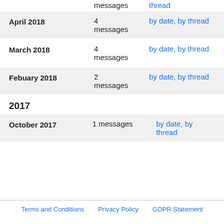| Month | Count | Links |
| --- | --- | --- |
|  | messages | thread |
| April 2018 | 4 messages | by date, by thread |
| March 2018 | 4 messages | by date, by thread |
| Febuary 2018 | 2 messages | by date, by thread |
| October 2017 | 1 messages | by date, by thread |
2017
Terms and Conditions   Privacy Policy   GDPR Statement